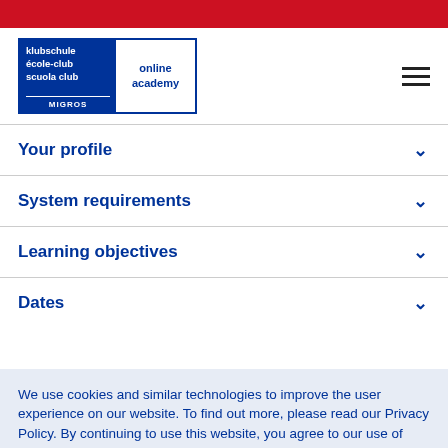[Figure (logo): Klubschule / école-club / scuola club Migros Online Academy logo]
Your profile
System requirements
Learning objectives
Dates
We use cookies and similar technologies to improve the user experience on our website. To find out more, please read our Privacy Policy. By continuing to use this website, you agree to our use of cookies and similar technologies. More details